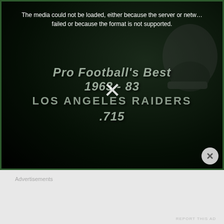[Figure (screenshot): Video player showing media load error message on dark background with text: Pro Football's Best 1963-83, LOS ANGELES RAIDERS, .715. An X close button overlay is visible in the center. A close/dismiss button appears in the bottom right corner.]
The media could not be loaded, either because the server or network failed or because the format is not supported.
Advertisements
REPORT THIS AD